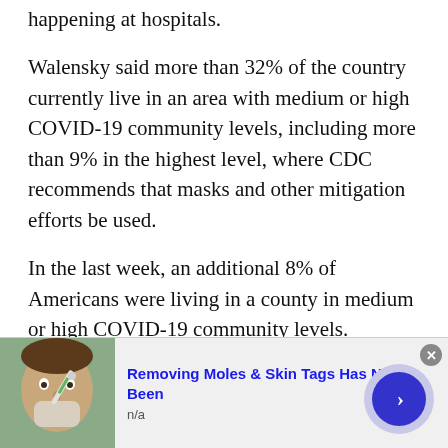happening at hospitals.
Walensky said more than 32% of the country currently live in an area with medium or high COVID-19 community levels, including more than 9% in the highest level, where CDC recommends that masks and other mitigation efforts be used.
In the last week, an additional 8% of Americans were living in a county in medium or high COVID-19 community levels.
Officials said they are concerned that waning immunity and relaxed mitigation measures across the country may contribute to a continued rise in
[Figure (photo): Advertisement banner showing a person applying something to their face with a tool, with text 'Removing Moles & Skin Tags Has Never Been' and 'n/a', along with a blue circular navigation button and a close button.]